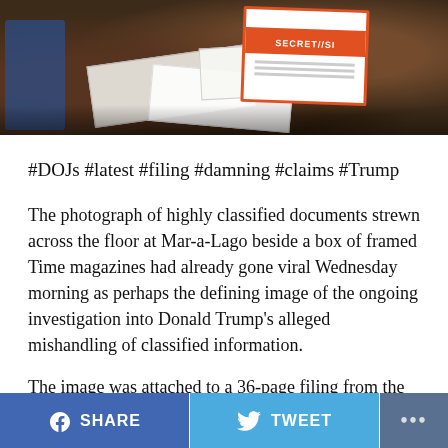[Figure (photo): Photograph showing classified documents strewn across a carpeted floor at Mar-a-Lago, with a SECRET/SCI labeled document visible in an orange/red bordered cover]
#DOJs #latest #filing #damning #claims #Trump
The photograph of highly classified documents strewn across the floor at Mar-a-Lago beside a box of framed Time magazines had already gone viral Wednesday morning as perhaps the defining image of the ongoing investigation into Donald Trump's alleged mishandling of classified information.
The image was attached to a 36-page filing from the Department of Justice in the ongoing court battle by Trump to have a special master review the documents seized by federal agents when they searched Mar-a-Lago...
SHARE   TWEET   ...